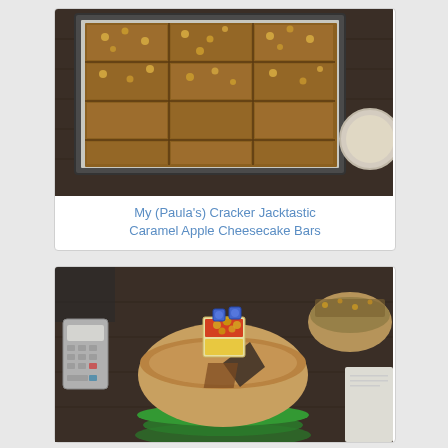[Figure (photo): A baking tray lined with foil containing caramel apple cracker jack cheesecake bars with a crunchy topping, cut into squares, on a dark wood surface with a pie dish partially visible on the right.]
My (Paula's) Cracker Jacktastic Caramel Apple Cheesecake Bars
[Figure (photo): A round cheesecake on a green plate/stand with a slice cut out, topped with a small box of Cracker Jack popcorn. Another dessert is visible in the background on the right, along with a calculator and papers on a dark wood table.]